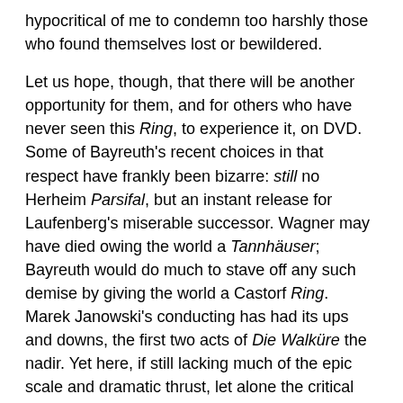hypocritical of me to condemn too harshly those who found themselves lost or bewildered.

Let us hope, though, that there will be another opportunity for them, and for others who have never seen this Ring, to experience it, on DVD. Some of Bayreuth's recent choices in that respect have frankly been bizarre: still no Herheim Parsifal, but an instant release for Laufenberg's miserable successor. Wagner may have died owing the world a Tannhäuser; Bayreuth would do much to stave off any such demise by giving the world a Castorf Ring. Marek Janowski's conducting has had its ups and downs, the first two acts of Die Walküre the nadir. Yet here, if still lacking much of the epic scale and dramatic thrust, let alone the critical stance, of what we see on stage, it acts well enough as a foil. Bar a few inevitable brass fluffs – I am not sure I have ever heard a Götterdämmerung in which that did not happen – the orchestra was excellent on its own terms. Moreover, the vocal and dramatic